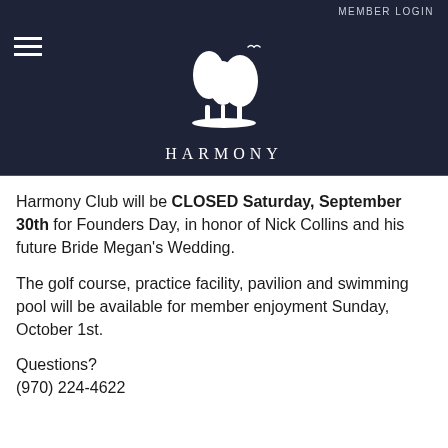MEMBER LOGIN
[Figure (logo): Harmony Club logo: white silhouette of two trees with birds, above the word HARMONY in white spaced serif text, on dark navy background]
Harmony Club will be CLOSED Saturday, September 30th for Founders Day, in honor of Nick Collins and his future Bride Megan's Wedding.
The golf course, practice facility, pavilion and swimming pool will be available for member enjoyment Sunday, October 1st.
Questions?
(970) 224-4622